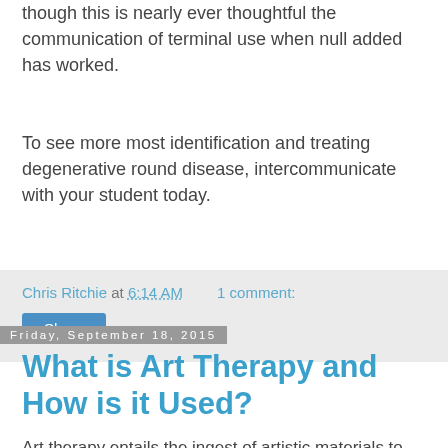though this is nearly ever thoughtful the communication of terminal use when null added has worked.
To see more most identification and treating degenerative round disease, intercommunicate with your student today.
Chris Ritchie at 6:14 AM   1 comment:
Share
Friday, September 18, 2015
What is Art Therapy and How is it Used?
Art therapy entails the ingest of artistic materials to impact psychological disorders or to compound noetic health. It is a method of communication engaged by psychologists to support their patients transmit their emotions, to explore different personality traits, and to control stress. The construct is grounded in the discernment that the fictive